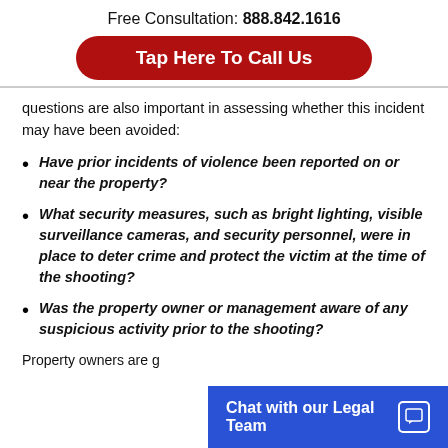Free Consultation: 888.842.1616
Tap Here To Call Us
questions are also important in assessing whether this incident may have been avoided:
Have prior incidents of violence been reported on or near the property?
What security measures, such as bright lighting, visible surveillance cameras, and security personnel, were in place to deter crime and protect the victim at the time of the shooting?
Was the property owner or management aware of any suspicious activity prior to the shooting?
Property owners are g